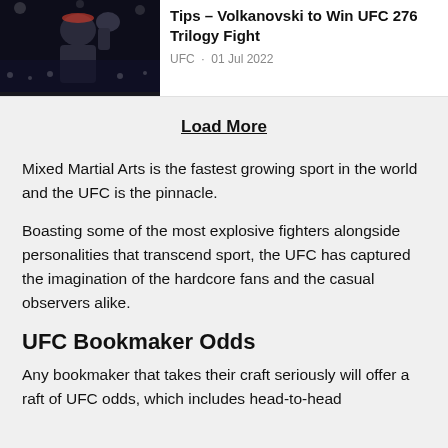[Figure (photo): A UFC fighter in action, close-up shot in the octagon with dark background]
Tips – Volkanovski to Win UFC 276 Trilogy Fight
UFC · 01 Jul 2022
Load More
Mixed Martial Arts is the fastest growing sport in the world and the UFC is the pinnacle.
Boasting some of the most explosive fighters alongside personalities that transcend sport, the UFC has captured the imagination of the hardcore fans and the casual observers alike.
UFC Bookmaker Odds
Any bookmaker that takes their craft seriously will offer a raft of UFC odds, which includes head-to-head